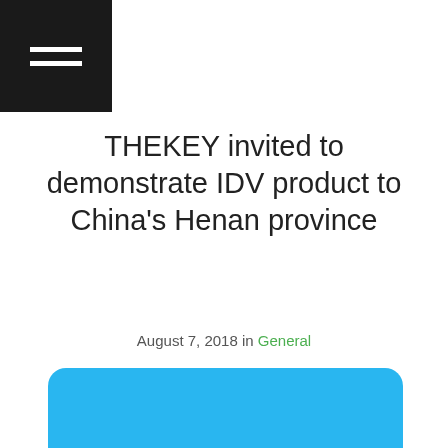☰ (hamburger menu icon)
THEKEY invited to demonstrate IDV product to China's Henan province
August 7, 2018 in General
[Figure (logo): THEKEY Henan Conference promotional card with sky-blue background, large white bold THEKEY text, 'Henan Conference' subtitle, and a key icon with THEKEY logo text beneath.]